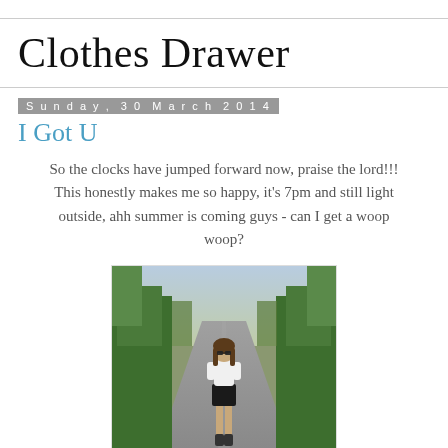Clothes Drawer
Sunday, 30 March 2014
I Got U
So the clocks have jumped forward now, praise the lord!!! This honestly makes me so happy, it’s 7pm and still light outside, ahh summer is coming guys - can I get a woop woop?
[Figure (photo): A young woman standing in the middle of a tree-lined road wearing a white top, black leather mini skirt, and dark ankle boots with sunglasses.]